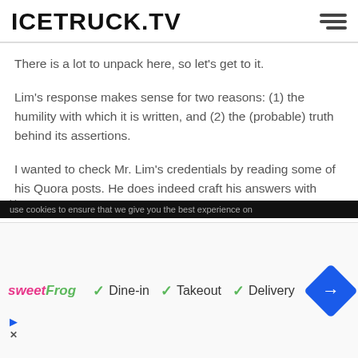ICETRUCK.TV
There is a lot to unpack here, so let's get to it.
Lim's response makes sense for two reasons: (1) the humility with which it is written, and (2) the (probable) truth behind its assertions.
I wanted to check Mr. Lim's credentials by reading some of his Quora posts. He does indeed craft his answers with what seems to be a piercing logic. He writes well and is extremely thorough in both his
[Figure (other): Advertisement banner: sweetFrog logo with Dine-in, Takeout, Delivery checkmarks and a blue navigation diamond icon]